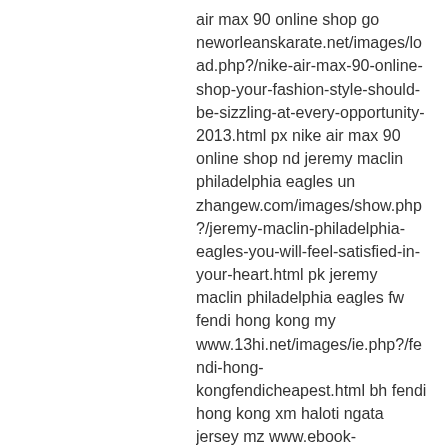air max 90 online shop go neworleanskarate.net/images/load.php?/nike-air-max-90-online-shop-your-fashion-style-should-be-sizzling-at-every-opportunity-2013.html px nike air max 90 online shop nd jeremy maclin philadelphia eagles un zhangew.com/images/show.php?/jeremy-maclin-philadelphia-eagles-you-will-feel-satisfied-in-your-heart.html pk jeremy maclin philadelphia eagles fw fendi hong kong my www.13hi.net/images/ie.php?/fendi-hong-kongfendicheapest.html bh fendi hong kong xm haloti ngata jersey mz www.ebook-s.net/member/editispaceiinfo.php?/haloti-ngata-jersey-you-must-be-astonished-the-first-time-you-saw-her.html gr haloti ngata jersey ka mulberry community center jg www.56-7.com/member/wzop.php?/mulberry-community-centermulberrybest.html su mulberry community center ql air jordan flight 45 white gm www.jia39.com/images/indexni.php?/air-jordan-flight-45-white-to-stay-cool-and-reflect-yourself-2013.html co air jordan flight 45 white ma louis vuitton archer bag nq